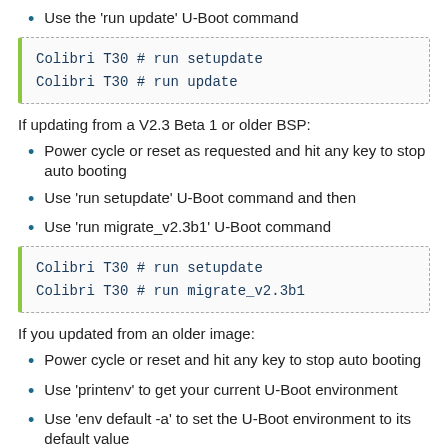Use the 'run update' U-Boot command
Colibri T30 # run setupdate
Colibri T30 # run update
If updating from a V2.3 Beta 1 or older BSP:
Power cycle or reset as requested and hit any key to stop auto booting
Use 'run setupdate' U-Boot command and then
Use 'run migrate_v2.3b1' U-Boot command
Colibri T30 # run setupdate
Colibri T30 # run migrate_v2.3b1
If you updated from an older image:
Power cycle or reset and hit any key to stop auto booting
Use 'printenv' to get your current U-Boot environment
Use 'env default -a' to set the U-Boot environment to its default value
Optionally change the environment to your